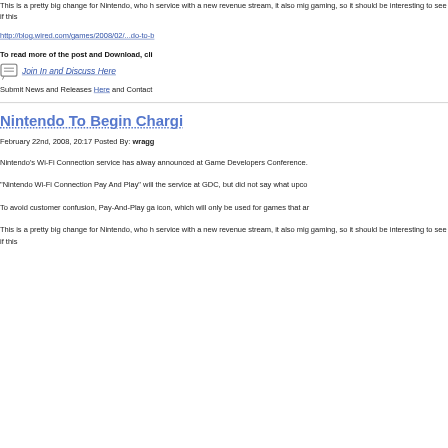This is a pretty big change for Nintendo, who h... service with a new revenue stream, it also mig... gaming, so it should be interesting to see if this...
http://blog.wired.com/games/2008/02/...do-to-b...
To read more of the post and Download, cli...
Join In and Discuss Here
Submit News and Releases Here and Contact...
Nintendo To Begin Chargi...
February 22nd, 2008, 20:17 Posted By: wragg...
Nintendo's Wi-Fi Connection service has alway... announced at Game Developers Conference.
"Nintendo Wi-Fi Connection Pay And Play" will... the service at GDC, but did not say what upco...
To avoid customer confusion, Pay-And-Play ga... icon, which will only be used for games that ar...
This is a pretty big change for Nintendo, who h... service with a new revenue stream, it also mig... gaming, so it should be interesting to see if this...